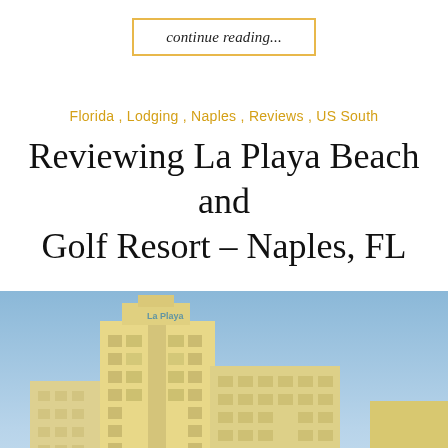continue reading...
Florida , Lodging , Naples , Reviews , US South
Reviewing La Playa Beach and Golf Resort – Naples, FL
[Figure (photo): Exterior photo of La Playa Beach and Golf Resort in Naples, FL — a multi-story yellow/cream hotel building against a blue sky with palm trees in the foreground]